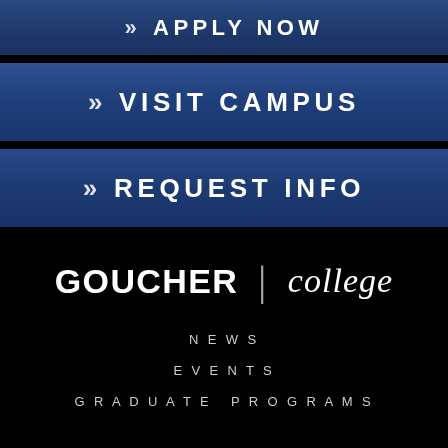» APPLY NOW
» VISIT CAMPUS
» REQUEST INFO
» GIVE TO GOUCHER
[Figure (logo): Goucher College logo: GOUCHER | college in white text on black background]
NEWS
EVENTS
GRADUATE PROGRAMS